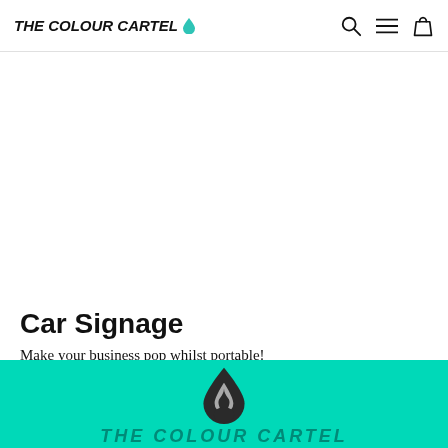THE COLOUR CARTEL
[Figure (illustration): Large white hero image area for car signage product]
Car Signage
Make your business pop whilst portable!
CHECK IT OUT.
[Figure (logo): The Colour Cartel logo (drop icon) on teal/turquoise background, with partial brand name text visible]